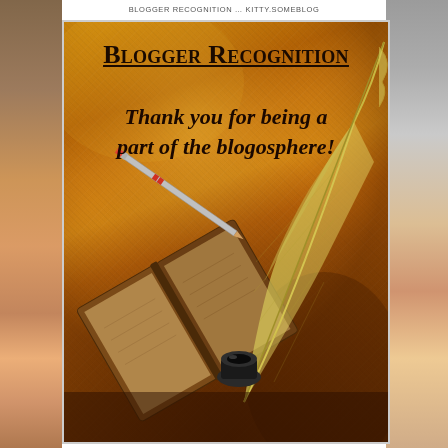BLOGGER RECOGNITION ... KITTY.SOMEBLOG
[Figure (illustration): Blogger Recognition award image: orange/brown parchment background with text 'Blogger Recognition' as title and 'Thank you for being a part of the blogosphere!' as tagline, with an illustration of a quill pen, inkwell, and open book in the lower portion.]